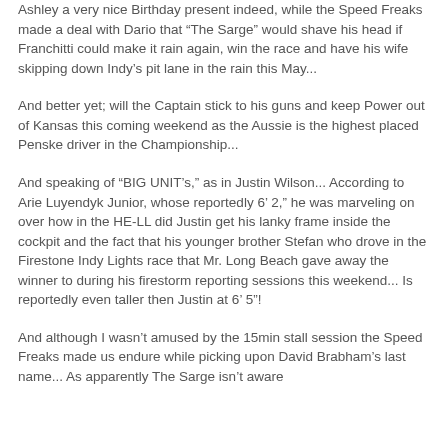Ashley a very nice Birthday present indeed, while the Speed Freaks made a deal with Dario that “The Sarge” would shave his head if Franchitti could make it rain again, win the race and have his wife skipping down Indy’s pit lane in the rain this May...
And better yet; will the Captain stick to his guns and keep Power out of Kansas this coming weekend as the Aussie is the highest placed Penske driver in the Championship...
And speaking of “BIG UNIT’s,” as in Justin Wilson... According to Arie Luyendyk Junior, whose reportedly 6’ 2,” he was marveling on over how in the HE-LL did Justin get his lanky frame inside the cockpit and the fact that his younger brother Stefan who drove in the Firestone Indy Lights race that Mr. Long Beach gave away the winner to during his firestorm reporting sessions this weekend... Is reportedly even taller then Justin at 6’ 5”!
And although I wasn’t amused by the 15min stall session the Speed Freaks made us endure while picking upon David Brabham’s last name... As apparently The Sarge isn’t aware